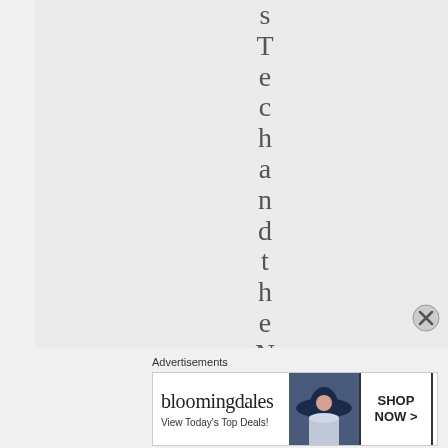[Figure (screenshot): Vertical text spelling 'sTechandtheNC.' displayed letter by letter top to bottom on a light gray background]
Advertisements
[Figure (screenshot): Bloomingdales advertisement banner with logo, tagline 'View Today's Top Deals!', image of woman with hat, and 'SHOP NOW >' button]